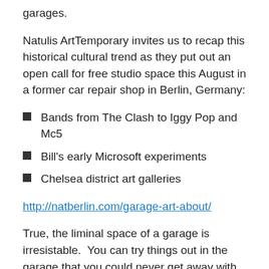garages.
Natulis ArtTemporary invites us to recap this historical cultural trend as they put out an open call for free studio space this August in a former car repair shop in Berlin, Germany:
Bands from The Clash to Iggy Pop and Mc5
Bill's early Microsoft experiments
Chelsea district art galleries
http://natberlin.com/garage-art-about/
True, the liminal space of a garage is irresistable.  You can try things out in the garage that you could never get away with in the house, even in the basement.   It is space that feels set apart, where one can experiment and suspend cultural notions about what is safe, what is allowed and